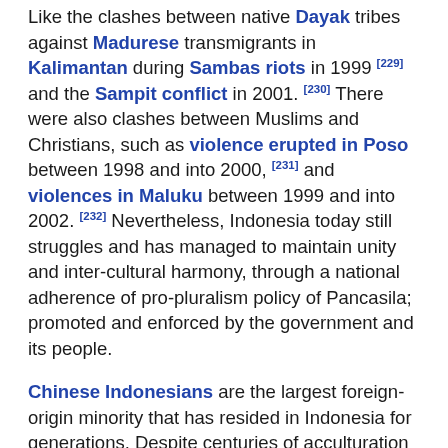Like the clashes between native Dayak tribes against Madurese transmigrants in Kalimantan during Sambas riots in 1999 [229] and the Sampit conflict in 2001. [230] There were also clashes between Muslims and Christians, such as violence erupted in Poso between 1998 and into 2000, [231] and violences in Maluku between 1999 and into 2002. [232] Nevertheless, Indonesia today still struggles and has managed to maintain unity and inter-cultural harmony, through a national adherence of pro-pluralism policy of Pancasila; promoted and enforced by the government and its people.
Chinese Indonesians are the largest foreign-origin minority that has resided in Indonesia for generations. Despite centuries of acculturation with native Indonesians, because of their disproportionate influence on Indonesian economy, and alleged question of national loyalty, Chinese Indonesians have suffered